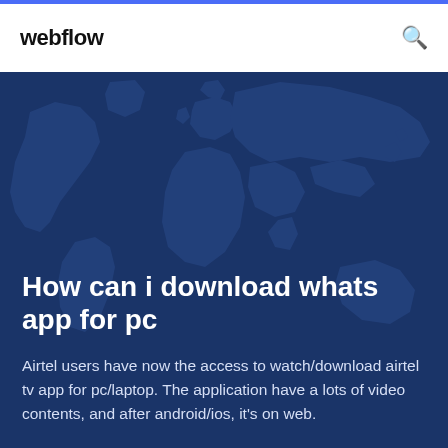webflow
[Figure (illustration): Dark navy blue world map silhouette background used as hero section backdrop]
How can i download whats app for pc
Airtel users have now the access to watch/download airtel tv app for pc/laptop. The application have a lots of video contents, and after android/ios, it's on web.